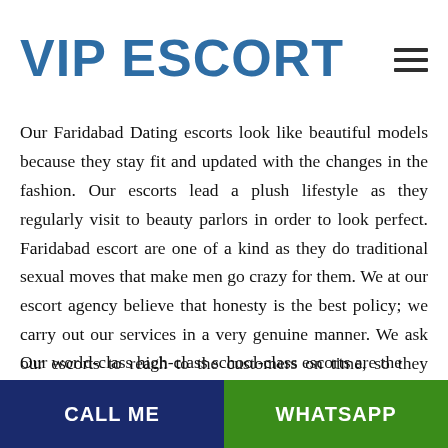VIP ESCORT
Our Faridabad Dating escorts look like beautiful models because they stay fit and updated with the changes in the fashion. Our escorts lead a plush lifestyle as they regularly visit to beauty parlors in order to look perfect. Faridabad escort are one of a kind as they do traditional sexual moves that make men go crazy for them. We at our escort agency believe that honesty is the best policy; we carry out our services in a very genuine manner. We ask our escorts to reach to the customers on time, so they don't have to wait.
CALL ME | WHATSAPP